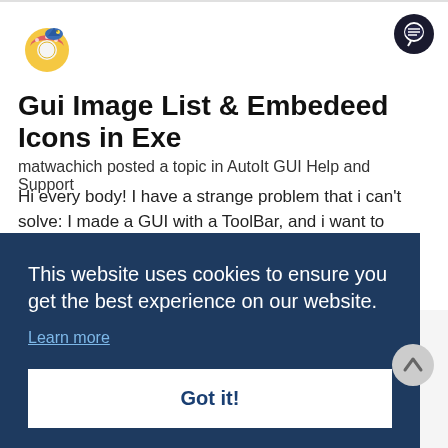[Figure (logo): AutoIt donut logo with blue hat]
[Figure (other): Dark circular chat/message icon button]
Gui Image List & Embedeed Icons in Exe
matwachich posted a topic in AutoIt GUI Help and Support
Hi every body! I have a strange problem that i can't solve: I made a GUI with a ToolBar, and i want to display custom icons in it. It's OK if i don't compile the script and i try to add the icons into my ImageList directly from disque, but when i compile and embeed my icons in
This website uses cookies to ensure you get the best experience on our website.
Learn more
Got it!